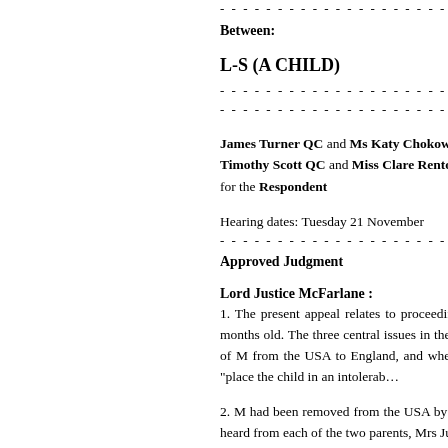- - - - - - - - - - - - - - - - - - - -
Between:
L-S (A CHILD)
- - - - - - - - - - - - - - - - - - - -
- - - - - - - - - - - - - - - - - - - -
James Turner QC and Ms Katy Chokowska (instructed by Freemans Solicitors) for the Appellant
Timothy Scott QC and Miss Clare Renton (instructed by Dawson Cornwell) for the Respondent
Hearing dates: Tuesday 21 November
- - - - - - - - - - - - - - - - - - - -
Approved Judgment
Lord Justice McFarlane :
1. The present appeal relates to proceedings under the Hague Convention on the Civil Aspects of International Child Abduction in which M was then 23 months old. The three central issues in the appeal are: where M was habitually resident, whether or not his father had subsequently acquiesced in the removal of M from the USA to England, and whether the mother can rely on Article 13(b) of the Convention by establishing that a return of M to the USA would "place the child in an intolerable situation".
2. M had been removed from the USA by the mother. The judgment now appealed was given at the conclusion of a 2 day hearing at which oral evidence was heard from each of the two parents, Mrs Justice Hogg found that M had been habitually resident in the United States at the time of